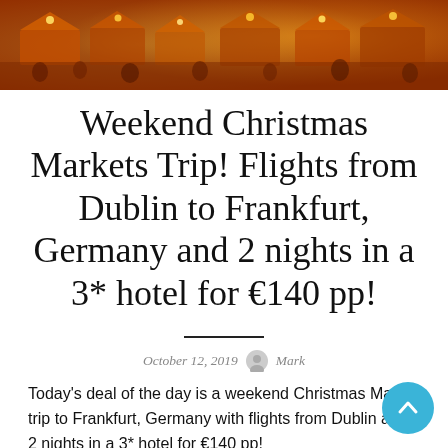[Figure (photo): Aerial/overhead view of a Christmas market at night with warm golden/orange lights and festive stalls, crowds of people visible.]
Weekend Christmas Markets Trip! Flights from Dublin to Frankfurt, Germany and 2 nights in a 3* hotel for €140 pp!
October 12, 2019   Mark
Today's deal of the day is a weekend Christmas Market trip to Frankfurt, Germany with flights from Dublin and 2 nights in a 3* hotel for €140 pp!